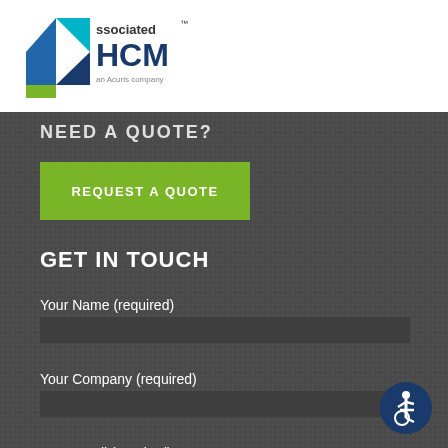[Figure (logo): Associated HCM logo - an Acuris company, with blue/teal geometric mountain shape and navy/green HCM text]
NEED A QUOTE?
REQUEST A QUOTE
GET IN TOUCH
Your Name (required)
Your Company (required)
Your Email (required)
[Figure (illustration): Accessibility icon - white wheelchair user symbol on dark blue circular background]